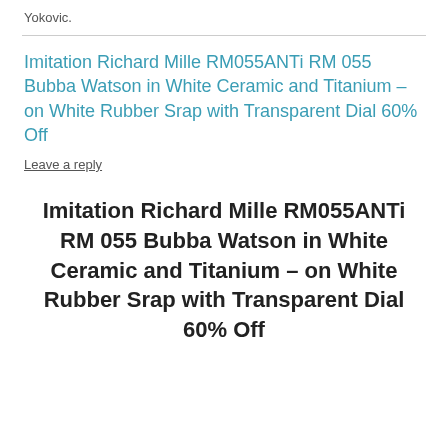Yokovic.
Imitation Richard Mille RM055ANTi RM 055 Bubba Watson in White Ceramic and Titanium – on White Rubber Srap with Transparent Dial 60% Off
Leave a reply
Imitation Richard Mille RM055ANTi RM 055 Bubba Watson in White Ceramic and Titanium – on White Rubber Srap with Transparent Dial 60% Off